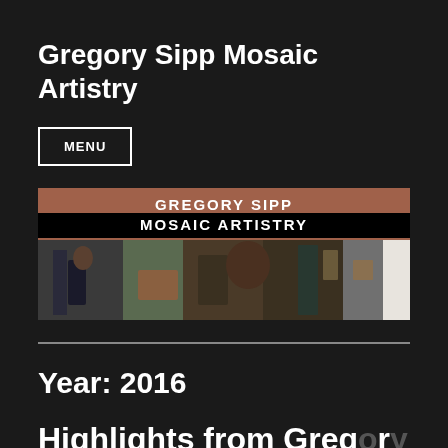Gregory Sipp Mosaic Artistry
MENU
[Figure (photo): Banner image for Gregory Sipp Mosaic Artistry website. Top portion has a brown/terracotta bar with text 'GREGORY SIPP' and below on black 'MOSAIC ARTISTRY'. Bottom portion shows a photo of people in what appears to be an art studio or gallery setting.]
Year: 2016
Highlights from Gregory...